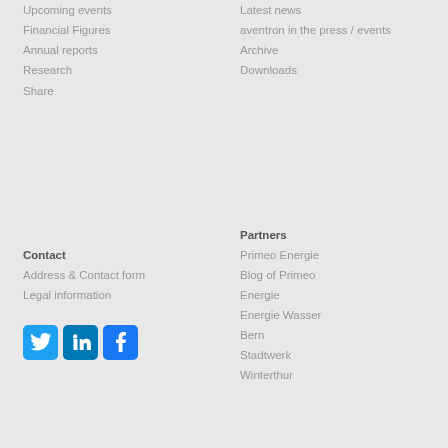Upcoming events
Financial Figures
Annual reports
Research
Share
Latest news
aventron in the press / events
Archive
Downloads
Contact
Address & Contact form
Legal information
[Figure (infographic): Social media icons: Twitter (blue bird), LinkedIn (blue), Facebook (blue f)]
Partners
Primeo Energie
Blog of Primeo Energie
Energie Wasser Bern
Stadtwerk Winterthur